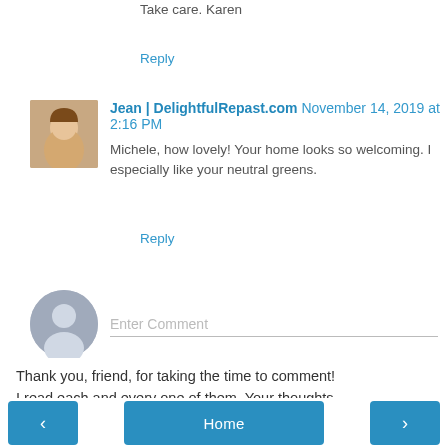Take care. Karen
Reply
Jean | DelightfulRepast.com November 14, 2019 at 2:16 PM
Michele, how lovely! Your home looks so welcoming. I especially like your neutral greens.
Reply
Enter Comment
Thank you, friend, for taking the time to comment! I read each and every one of them. Your thoughts are appreciated!
Home